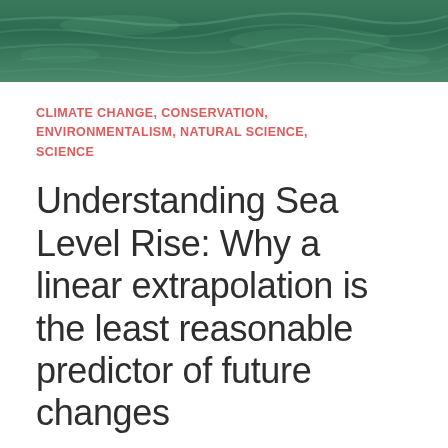[Figure (photo): Aerial or overhead photo of dark green water/ocean surface with textured wave patterns, used as a decorative header image.]
CLIMATE CHANGE, CONSERVATION, ENVIRONMENTALISM, NATURAL SCIENCE, SCIENCE
Understanding Sea Level Rise: Why a linear extrapolation is the least reasonable predictor of future changes